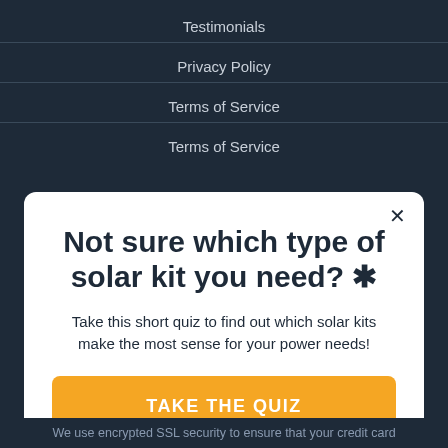Testimonials
Privacy Policy
Terms of Service
Terms of Service
Not sure which type of solar kit you need? ✳
Take this short quiz to find out which solar kits make the most sense for your power needs!
TAKE THE QUIZ
We use encrypted SSL security to ensure that your credit card